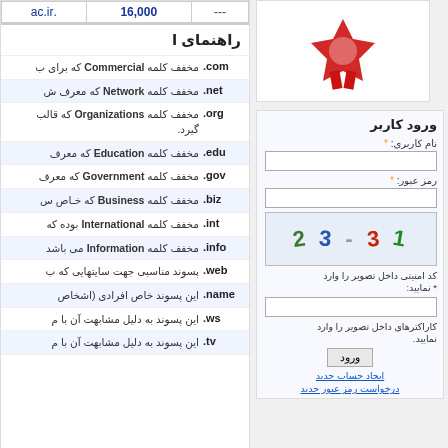| --- | 16,000 | .ac.ir |
| --- | --- | --- |
| --- | 16,000 | .ac.ir |
راهنمای ا
.com مخفف کلمه Commercial که برای ب
.net مخفف کلمه Network که معرف ش
.org مخفف کلمه Organizations که قالب گیرد.
.edu مخفف کلمه Education که معرف
.gov مخفف کلمه Government که معرف
.biz مخفف کلمه Business که خاص س
.int مخفف کلمه International بوده که
.info مخفف کلمه Information می باشد
.web پسوند مناسبی جهت سایتهایی که ب
.name این پسوند خاص افرادی (اشخاص
.ws این پسوند به دلیل مشابهت آن با م
.tv این پسوند به دلیل مشابهت آن با م
[Figure (illustration): Red award ribbon/badge icon]
ورود کاربر
نام کاربری: *
[Figure (other): CAPTCHA image with characters 2 3-3 1]
کد امنیتی داخل تصویر را وارد نمایید: *
کاراکترهای داخل تصویر را وارد نمایید
ورود
ایجاد حساب جدید
درخواست رمز عبور جدید